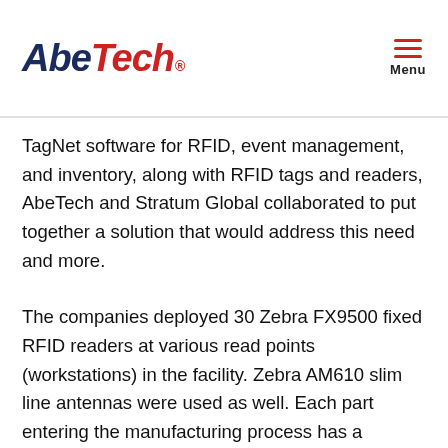AbeTech® Menu
TagNet software for RFID, event management, and inventory, along with RFID tags and readers, AbeTech and Stratum Global collaborated to put together a solution that would address this need and more.
The companies deployed 30 Zebra FX9500 fixed RFID readers at various read points (workstations) in the facility. Zebra AM610 slim line antennas were used as well. Each part entering the manufacturing process has a magnetic ceramic-encased tag placed on it